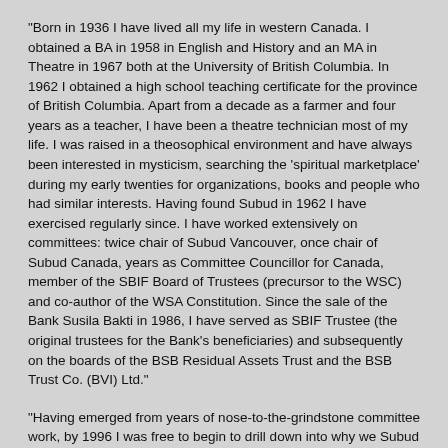"Born in 1936 I have lived all my life in western Canada. I obtained a BA in 1958 in English and History and an MA in Theatre in 1967 both at the University of British Columbia. In 1962 I obtained a high school teaching certificate for the province of British Columbia. Apart from a decade as a farmer and four years as a teacher, I have been a theatre technician most of my life. I was raised in a theosophical environment and have always been interested in mysticism, searching the 'spiritual marketplace' during my early twenties for organizations, books and people who had similar interests. Having found Subud in 1962 I have exercised regularly since. I have worked extensively on committees: twice chair of Subud Vancouver, once chair of Subud Canada, years as Committee Councillor for Canada, member of the SBIF Board of Trustees (precursor to the WSC) and co-author of the WSA Constitution. Since the sale of the Bank Susila Bakti in 1986, I have served as SBIF Trustee (the original trustees for the Bank's beneficiaries) and subsequently on the boards of the BSB Residual Assets Trust and the BSB Trust Co. (BVI) Ltd."
"Having emerged from years of nose-to-the-grindstone committee work, by 1996 I was free to begin to drill down into why we Subud members behaved the way we do in an effort to discover the source of my extreme discomfort with certain practices revolving around testing, particularly its use in committee matters. Along the way on this continuing exploration, I have become convinced, both within and through dialogue, that finding our deepest assumptions about life determines how we construct our thinking about it. At root, what do we believe? At this point I remain an agnostic. I am interested in science"